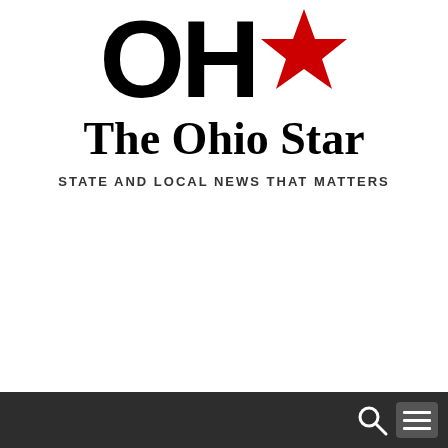[Figure (logo): The Ohio Star newspaper logo: large bold black letters 'OH' with a red star, followed by the text 'The Ohio Star' in bold serif font, and tagline 'STATE AND LOCAL NEWS THAT MATTERS' in small caps below]
The Ohio Star
STATE AND LOCAL NEWS THAT MATTERS
Navigation bar with search and menu icons